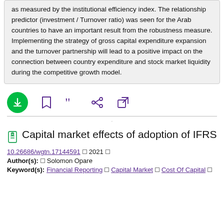as measured by the institutional efficiency index. The relationship predictor (investment / Turnover ratio) was seen for the Arab countries to have an important result from the robustness measure. Implementing the strategy of gross capital expenditure expansion and the turnover partnership will lead to a positive impact on the connection between country expenditure and stock market liquidity during the competitive growth model.
[Figure (other): Action bar with download button (green circle with down arrow), bookmark icon, quotation marks icon, share icon, and external link icon — all in purple]
Capital market effects of adoption of IFRS
10.26686/wgtn.17144591  2021  Author(s): Solomon Opare  Keyword(s): Financial Reporting  Capital Market  Cost Of Capital